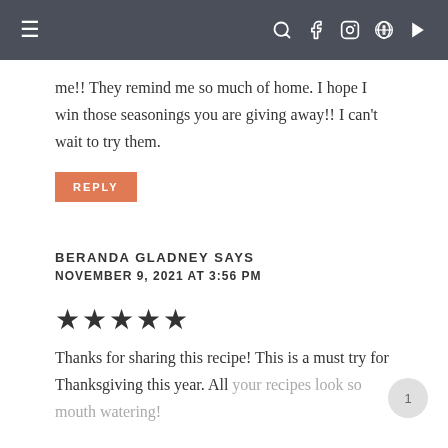≡   [search] [facebook] [instagram] [pinterest] [youtube]
me!! They remind me so much of home. I hope I win those seasonings you are giving away!! I can't wait to try them.
REPLY
BERANDA GLADNEY SAYS
NOVEMBER 9, 2021 AT 3:56 PM
★★★★★
Thanks for sharing this recipe! This is a must try for Thanksgiving this year. All your recipes look so mouth watering!